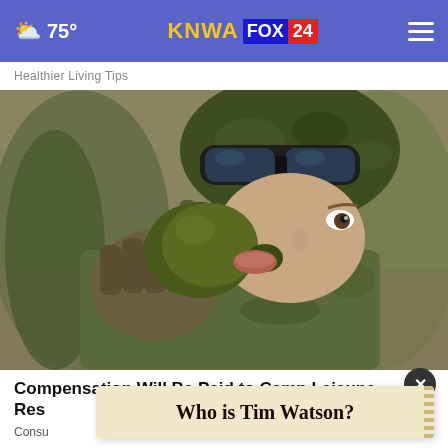75° KNWA FOX24
Healthier Living Tips
[Figure (photo): A soldier in military helmet with goggles and headset drinking from a canteen or flask, wearing camouflage gear, close-up shot.]
Compensation Will Be Paid to Camp Lejeune Res
Consu
Who is Tim Watson?